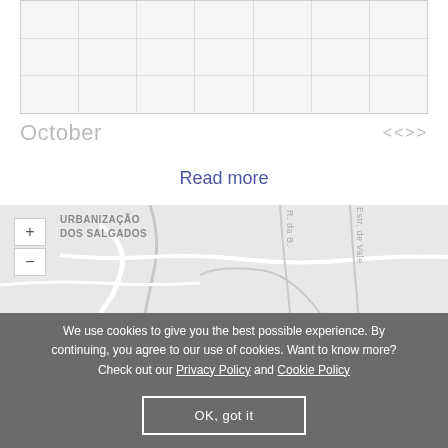[Figure (other): Calendar grid with empty cells, partially visible at top of page]
October
Read more
[Figure (map): Street map showing Urbanizacao Dos Salgados area with zoom controls (+/-), roads including R. da B. and Estr. de Vale]
We use cookies to give you the best possible experience. By continuing, you agree to our use of cookies. Want to know more? Check out our Privacy Policy and Cookie Policy
OK, got it